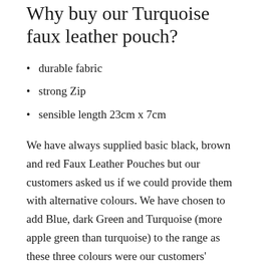Why buy our Turquoise faux leather pouch?
durable fabric
strong Zip
sensible length 23cm x 7cm
We have always supplied basic black, brown and red Faux Leather Pouches but our customers asked us if we could provide them with alternative colours. We have chosen to add Blue, dark Green and Turquoise (more apple green than turquoise) to the range as these three colours were our customers' choices...